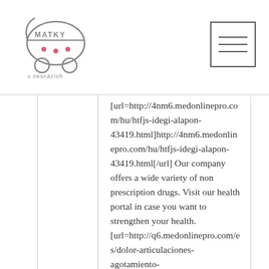[Figure (logo): Matky v nesnázích logo - baby carriage illustration with text]
[url=http://4nm6.medonlinepro.com/hu/htfjs-idegi-alapon-43419.html]http://4nm6.medonlinepro.com/hu/htfjs-idegi-alapon-43419.html[/url] Our company offers a wide variety of non prescription drugs. Visit our health portal in case you want to strengthen your health. [url=http://q6.medonlinepro.com/es/dolor-articulaciones-agotamiento-